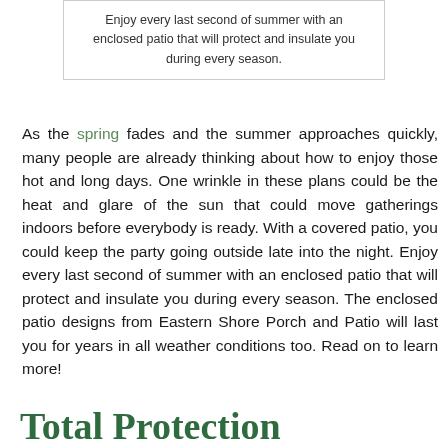Enjoy every last second of summer with an enclosed patio that will protect and insulate you during every season.
As the spring fades and the summer approaches quickly, many people are already thinking about how to enjoy those hot and long days. One wrinkle in these plans could be the heat and glare of the sun that could move gatherings indoors before everybody is ready. With a covered patio, you could keep the party going outside late into the night. Enjoy every last second of summer with an enclosed patio that will protect and insulate you during every season. The enclosed patio designs from Eastern Shore Porch and Patio will last you for years in all weather conditions too. Read on to learn more!
Total Protection